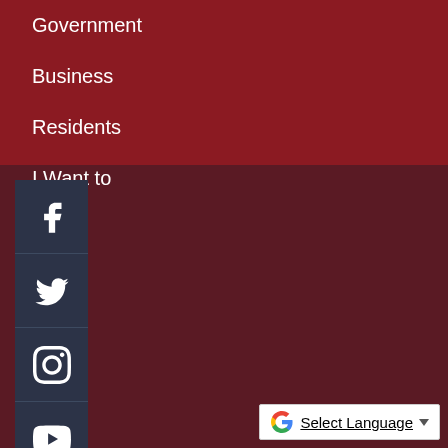Government
Business
Residents
I Want to
[Figure (other): Social media icon bar with Facebook, Twitter, Instagram, YouTube icons on dark navy background]
[Figure (other): Google Translate widget button with G logo and dropdown arrow]